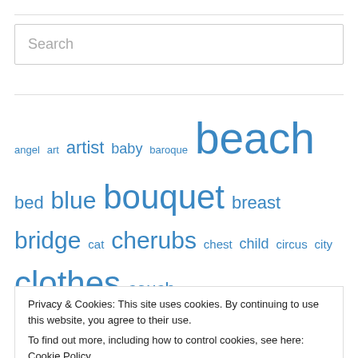[Figure (screenshot): Search input box with placeholder text 'Search']
angel art artist baby baroque beach bed blue bouquet breast bridge cat cherubs chest child circus city clothes couch couple cross Cupid curly daughter dress face fantasy fashion feet field flowers fountain friends
Privacy & Cookies: This site uses cookies. By continuing to use this website, you agree to their use.
To find out more, including how to control cookies, see here: Cookie Policy
Close and accept
hair river scene sea shoes shore singer sitter street suit